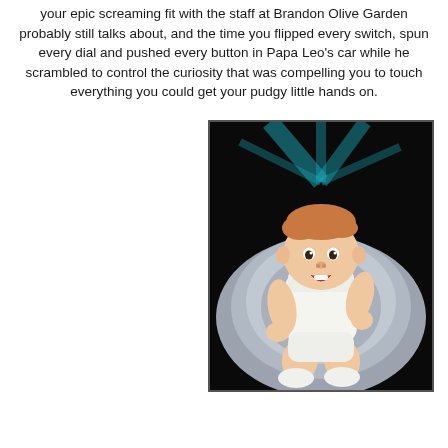your epic screaming fit with the staff at Brandon Olive Garden probably still talks about, and the time you flipped every switch, spun every dial and pushed every button in Papa Leo's car while he scrambled to control the curiosity that was compelling you to touch everything you could get your pudgy little hands on.
[Figure (photo): A baby wearing a white outfit sitting on a grey fluffy blanket, with a dark background featuring teal star-burst light rays. The baby has reddish hair, an open mouth expression, and is looking toward the camera.]